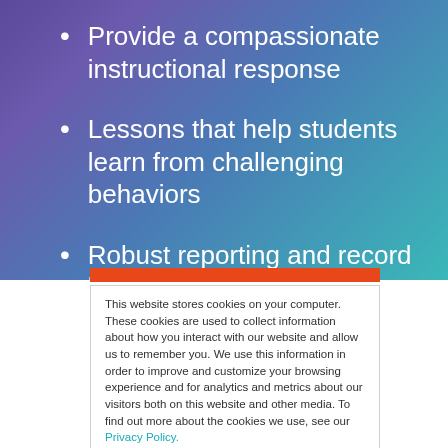Provide a compassionate instructional response
Lessons that help students learn from challenging behaviors
Robust reporting and record keeping
This website stores cookies on your computer. These cookies are used to collect information about how you interact with our website and allow us to remember you. We use this information in order to improve and customize your browsing experience and for analytics and metrics about our visitors both on this website and other media. To find out more about the cookies we use, see our Privacy Policy.